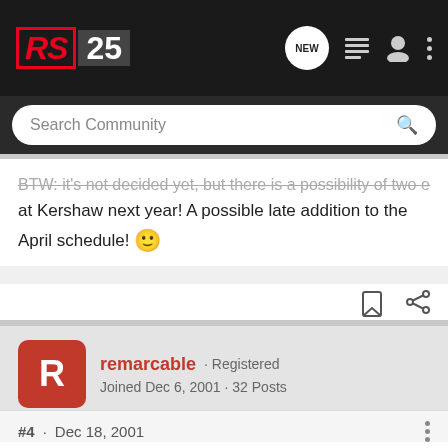[Figure (logo): RS25 forum logo in red and white on dark background]
Search Community
BTW: it's not decided yet, but there is a possibility of two events at Kershaw next year! A possible late addition to the April schedule! 🙂
remarcable · Registered
Joined Dec 6, 2001 · 32 Posts
#4 · Dec 18, 2001
Awesome.

I am going to start running the outback more often if I can get this f'ing tranny leak fixed and some money in my bank